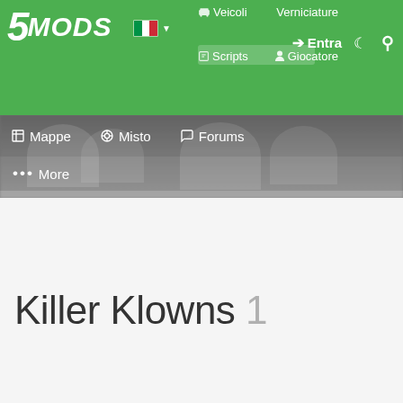5MODS navigation header with logo, language selector, Veicoli, Verniciature, Entra, Scripts, Giocatore, Mappe, Misto, Forums, More
Killer Klowns 1